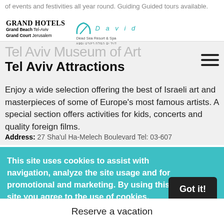of events and festivities all year round. Guiding Guided tours available.
[Figure (logo): Grand Hotels logo with Grand Beach Tel-Aviv and Grand Court Jerusalem]
[Figure (logo): David Dead Sea Resort & Spa logo with teal arch icon and Hebrew text]
Tel Aviv Attractions
Tel Aviv Museum of Art (watermark)
Enjoy a wide selection offering the best of Israeli art and masterpieces of some of Europe's most famous artists. A special section offers activities for kids, concerts and quality foreign films.
Address: 27 Sha'ul Ha-Melech Boulevard Tel: 03-607
This site uses cookies to assist with navigation, analyze the site usage and for promotional and marketing. By using this site you agree to the use of cookies. Learn more
Got it!
Reserve a vacation